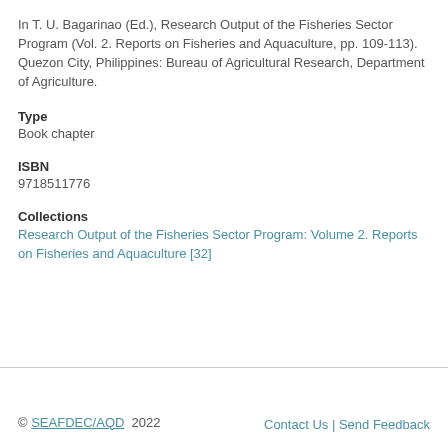In T. U. Bagarinao (Ed.), Research Output of the Fisheries Sector Program (Vol. 2. Reports on Fisheries and Aquaculture, pp. 109-113). Quezon City, Philippines: Bureau of Agricultural Research, Department of Agriculture.
Type
Book chapter
ISBN
9718511776
Collections
Research Output of the Fisheries Sector Program: Volume 2. Reports on Fisheries and Aquaculture [32]
© SEAFDEC/AQD 2022   Contact Us | Send Feedback